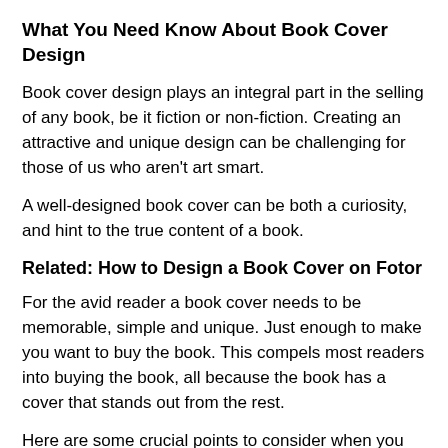What You Need Know About Book Cover Design
Book cover design plays an integral part in the selling of any book, be it fiction or non-fiction. Creating an attractive and unique design can be challenging for those of us who aren't art smart.
A well-designed book cover can be both a curiosity, and hint to the true content of a book.
Related: How to Design a Book Cover on Fotor
For the avid reader a book cover needs to be memorable, simple and unique. Just enough to make you want to buy the book. This compels most readers into buying the book, all because the book has a cover that stands out from the rest.
Here are some crucial points to consider when you design a book cover:
1. The Book Cover is a Reflection of its Contents